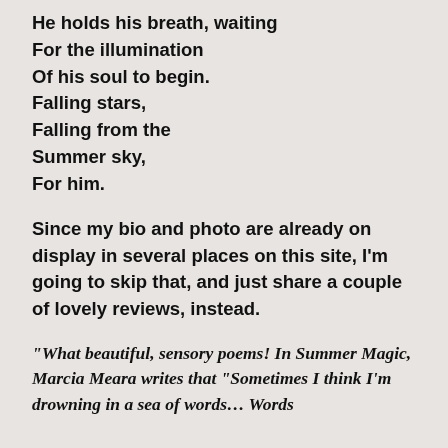He holds his breath, waiting
For the illumination
Of his soul to begin.
Falling stars,
Falling from the
Summer sky,
For him.
Since my bio and photo are already on display in several places on this site, I'm going to skip that, and just share a couple of lovely reviews, instead.
“What beautiful, sensory poems! In Summer Magic, Marcia Meara writes that “Sometimes I think I’m drowning in a sea of words… Words